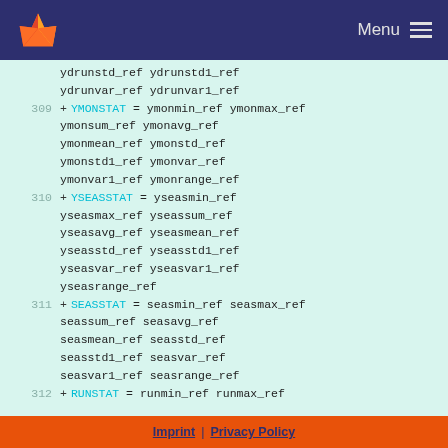Menu
ydrunstd_ref ydrunstd1_ref
   ydrunvar_ref ydrunvar1_ref
309 + YMONSTAT = ymonmin_ref ymonmax_ref ymonsum_ref ymonavg_ref ymonmean_ref ymonstd_ref ymonstd1_ref ymonvar_ref ymonvar1_ref ymonrange_ref
310 + YSEASSTAT = yseasmin_ref yseasmax_ref yseassum_ref yseasavg_ref yseasmean_ref yseasstd_ref yseasstd1_ref yseasvar_ref yseasvar1_ref yseasrange_ref
311 + SEASSTAT = seasmin_ref seasmax_ref seassum_ref seasavg_ref seasmean_ref seasstd_ref seasstd1_ref seasvar_ref seasvar1_ref seasrange_ref
312 + RUNSTAT = runmin_ref runmax_ref
Imprint | Privacy Policy